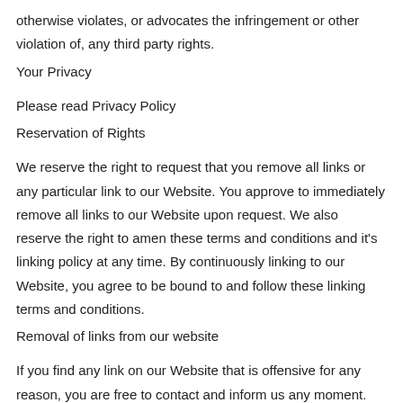otherwise violates, or advocates the infringement or other violation of, any third party rights.
Your Privacy
Please read Privacy Policy
Reservation of Rights
We reserve the right to request that you remove all links or any particular link to our Website. You approve to immediately remove all links to our Website upon request. We also reserve the right to amen these terms and conditions and it’s linking policy at any time. By continuously linking to our Website, you agree to be bound to and follow these linking terms and conditions.
Removal of links from our website
If you find any link on our Website that is offensive for any reason, you are free to contact and inform us any moment. We will consider